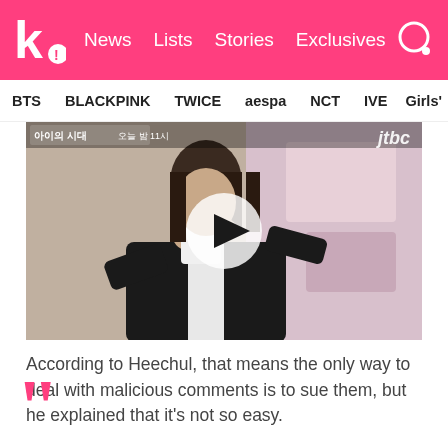k! News Lists Stories Exclusives
BTS BLACKPINK TWICE aespa NCT IVE Girls'
[Figure (screenshot): Video thumbnail showing a woman in a black blazer holding something up to her face, from a Korean TV show. A circular play button overlay is centered on the image. Korean text and channel logo visible.]
According to Heechul, that means the only way to deal with malicious comments is to sue them, but he explained that it's not so easy.